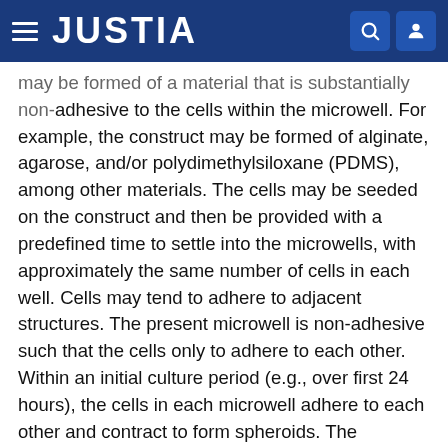JUSTIA
may be formed of a material that is substantially non-adhesive to the cells within the microwell. For example, the construct may be formed of alginate, agarose, and/or polydimethylsiloxane (PDMS), among other materials. The cells may be seeded on the construct and then be provided with a predefined time to settle into the microwells, with approximately the same number of cells in each well. Cells may tend to adhere to adjacent structures. The present microwell is non-adhesive such that the cells only to adhere to each other. Within an initial culture period (e.g., over first 24 hours), the cells in each microwell adhere to each other and contract to form spheroids. The distribution of the cells within the spheroid is random, reflecting the random distribution originating when they were initially seeded into the microwells.
At 101, the self-organization of the different cell types in